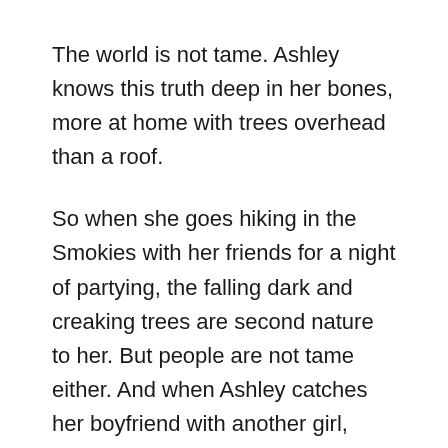The world is not tame. Ashley knows this truth deep in her bones, more at home with trees overhead than a roof.
So when she goes hiking in the Smokies with her friends for a night of partying, the falling dark and creaking trees are second nature to her. But people are not tame either. And when Ashley catches her boyfriend with another girl, drunken rage sends her running into the night, stopped only by a nasty fall into a ravine.
Morning brings the realization that she's alone—and far off trail. Lost in undisturbed forest and with nothing but the clothes on her back, Ashley must